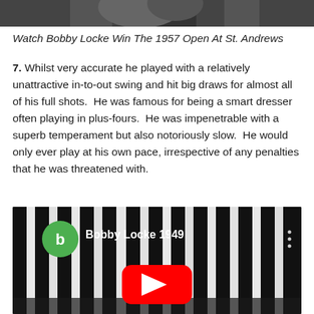[Figure (photo): Black and white photo of Bobby Locke, cropped at top of page]
Watch Bobby Locke Win The 1957 Open At St. Andrews
7. Whilst very accurate he played with a relatively unattractive in-to-out swing and hit big draws for almost all of his full shots.  He was famous for being a smart dresser often playing in plus-fours.  He was impenetrable with a superb temperament but also notoriously slow.  He would only ever play at his own pace, irrespective of any penalties that he was threatened with.
[Figure (screenshot): YouTube video thumbnail showing Bobby Locke 1949 video with green channel icon, black and white vertical stripes background, and red YouTube play button]